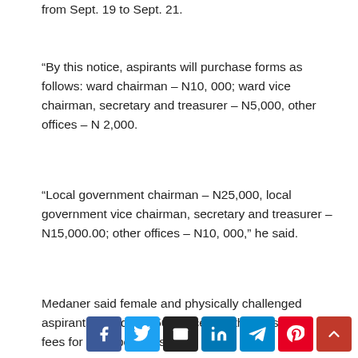from Sept. 19 to Sept. 21.
“By this notice, aspirants will purchase forms as follows: ward chairman – N10, 000; ward vice chairman, secretary and treasurer – N5,000, other offices – N 2,000.
“Local government chairman – N25,000, local government vice chairman, secretary and treasurer – N15,000.00; other offices – N10, 000,” he said.
Medaner said female and physically challenged aspirants would pay 50 per cent of the prescribed fees for each positions.